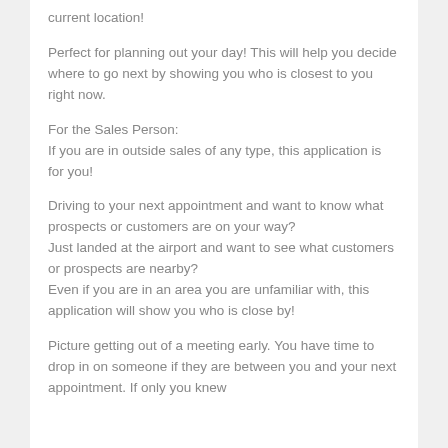current location!
Perfect for planning out your day! This will help you decide where to go next by showing you who is closest to you right now.
For the Sales Person:
If you are in outside sales of any type, this application is for you!
Driving to your next appointment and want to know what prospects or customers are on your way?
Just landed at the airport and want to see what customers or prospects are nearby?
Even if you are in an area you are unfamiliar with, this application will show you who is close by!
Picture getting out of a meeting early. You have time to drop in on someone if they are between you and your next appointment. If only you knew